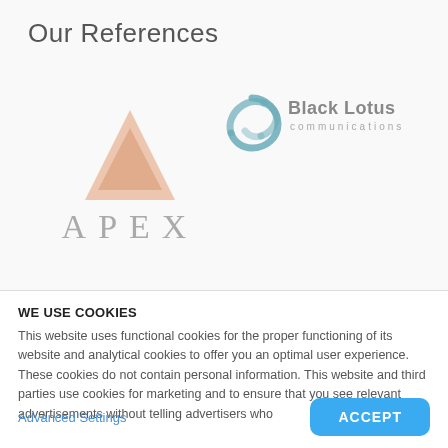Our References
[Figure (logo): APEX logo — an orange/peach triangle above the letters APEX in light gray serif font]
[Figure (logo): Black Lotus communications logo — a teal swirl/spiral icon next to the text 'Black Lotus communications' in gray]
WE USE COOKIES
This website uses functional cookies for the proper functioning of its website and analytical cookies to offer you an optimal user experience. These cookies do not contain personal information. This website and third parties use cookies for marketing and to ensure that you see relevant advertisements without telling advertisers who
Advanced Settings
ACCEPT